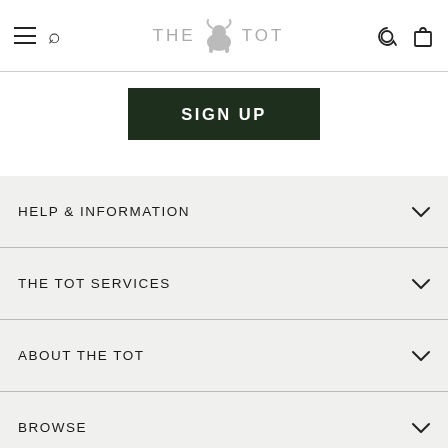THE TOT — navigation header with hamburger menu, search, logo, heart icon, bag icon
SIGN UP
HELP & INFORMATION
THE TOT SERVICES
ABOUT THE TOT
BROWSE